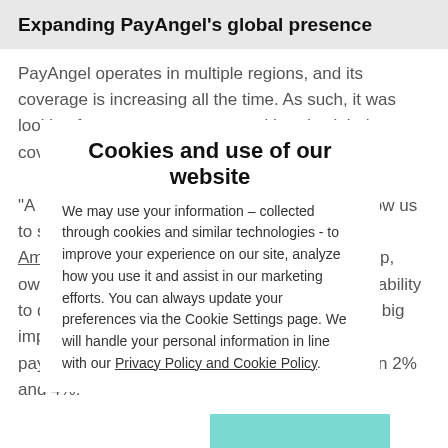Expanding PayAngel's global presence
PayAngel operates in multiple regions, and its coverage is increasing all the time. As such, it was looking for a payments partner with truly global coverage that would allow it to scale efficiently.
Cookies and use of our website
We may use your information – collected through cookies and similar technologies - to improve your experience on our site, analyze how you use it and assist in our marketing efforts. You can always update your preferences via the Cookie Settings page. We will handle your personal information in line with our Privacy Policy and Cookie Policy.
"A key requirement was a partner that would allow us to settle in like-for-like currencies," says Jones Amegbor, Founder and CEO of the Paying Group, owner of the PayAngel brand. "Checkout.com's ability to do this in-line with operating currencies has a big impact on our cost base, as it allows us to avoid paying FX fees, which can be anywhere between 2% and 4%."